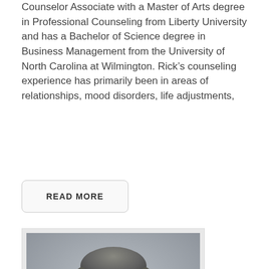Counselor Associate with a Master of Arts degree in Professional Counseling from Liberty University and has a Bachelor of Science degree in Business Management from the University of North Carolina at Wilmington. Rick's counseling experience has primarily been in areas of relationships, mood disorders, life adjustments,
READ MORE
[Figure (photo): Professional headshot of a middle-aged man with gray hair, smiling, wearing a dark jacket, against a neutral gray background. A GoDaddy Verified & Secured badge is overlaid at the bottom left.]